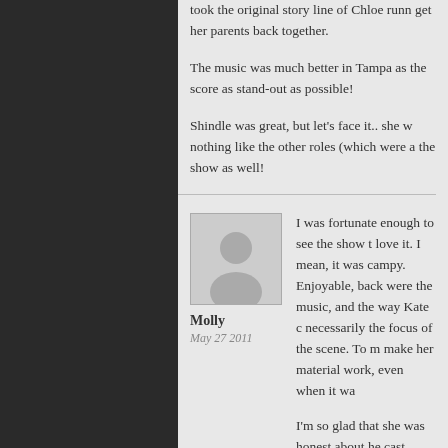took the original story line of Chloe runn get her parents back together.
The music was much better in Tampa as the score as stand-out as possible!
Shindle was great, but let's face it.. she w nothing like the other roles (which were a the show as well!
[Figure (photo): Default user avatar placeholder image - grey silhouette of a person on light grey background]
Molly
May 27 2011
I was fortunate enough to see the show t love it. I mean, it was campy. Enjoyable, back were the music, and the way Kate c necessarily the focus of the scene. To m make her material work, even when it wa
I'm so glad that she was honest about he cast (while it was open) had been saying beyond that. I've been wondering what t sell tickets–and I think Kate's opinion mo